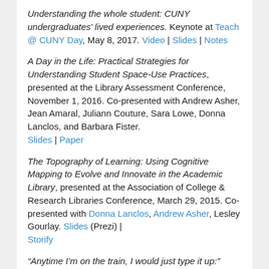Understanding the whole student: CUNY undergraduates' lived experiences. Keynote at Teach @ CUNY Day, May 8, 2017. Video | Slides | Notes
A Day in the Life: Practical Strategies for Understanding Student Space-Use Practices, presented at the Library Assessment Conference, November 1, 2016. Co-presented with Andrew Asher, Jean Amaral, Juliann Couture, Sara Lowe, Donna Lanclos, and Barbara Fister. Slides | Paper
The Topography of Learning: Using Cognitive Mapping to Evolve and Innovate in the Academic Library, presented at the Association of College & Research Libraries Conference, March 29, 2015. Co-presented with Donna Lanclos, Andrew Asher, Lesley Gourlay. Slides (Prezi) | Storify
“Anytime I’m on the train, I would just type it up:” Commuter Students Using Technology, keynote at the